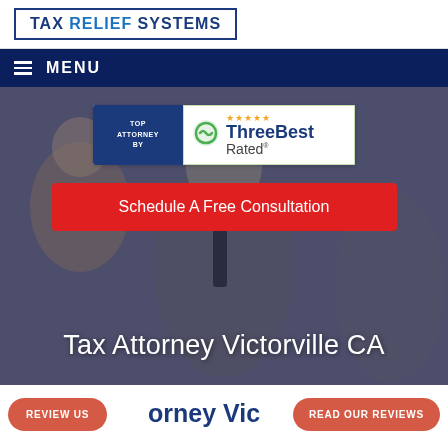TAX RELIEF SYSTEMS
MENU
[Figure (screenshot): Hero section with blurred background photo of business professionals in suits. Overlaid with dark blue tint. Contains ThreeBestRated badge, Schedule A Free Consultation red button, and large white heading 'Tax Attorney Victorville CA']
Tax Attorney Victorville CA
Tax Attorney Vic
REVIEW US
READ OUR REVIEWS